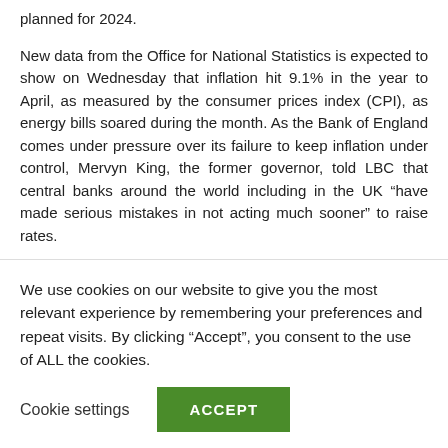planned for 2024.
New data from the Office for National Statistics is expected to show on Wednesday that inflation hit 9.1% in the year to April, as measured by the consumer prices index (CPI), as energy bills soared during the month. As the Bank of England comes under pressure over its failure to keep inflation under control, Mervyn King, the former governor, told LBC that central banks around the world including in the UK “have made serious mistakes in not acting much sooner” to raise rates.
“Most people are going to be worse off because
We use cookies on our website to give you the most relevant experience by remembering your preferences and repeat visits. By clicking “Accept”, you consent to the use of ALL the cookies.
Cookie settings
ACCEPT